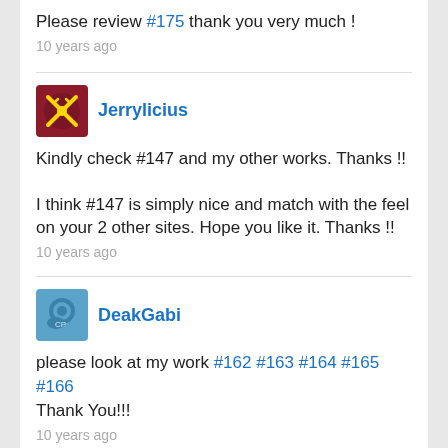Please review #175 thank you very much !
10 years ago
Jerrylicius
Kindly check #147 and my other works. Thanks !!
I think #147 is simply nice and match with the feel on your 2 other sites. Hope you like it. Thanks !!
10 years ago
DeakGabi
please look at my work #162 #163 #164 #165 #166 Thank You!!!
10 years ago